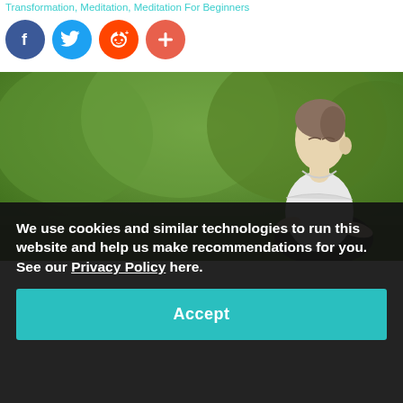Transformation, Meditation, Meditation For Beginners
[Figure (infographic): Social share buttons: Facebook (blue circle with f), Twitter (blue circle with bird), Reddit (orange circle with alien mascot), and a coral/red circle with a plus sign]
[Figure (photo): Woman in white shirt meditating outdoors with eyes closed, green blurred trees in background, sitting in yoga pose on a mat]
We use cookies and similar technologies to run this website and help us make recommendations for you. See our Privacy Policy here.
Accept